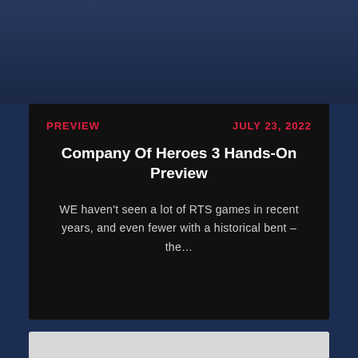[Figure (photo): Dark blue military/war background image at the top of the page]
PREVIEW | JULY 23, 2022
Company Of Heroes 3 Hands-On Preview
WE haven't seen a lot of RTS games in recent years, and even fewer with a historical bent – the…
[Figure (other): Light grey placeholder/advertisement block at the bottom of the page]